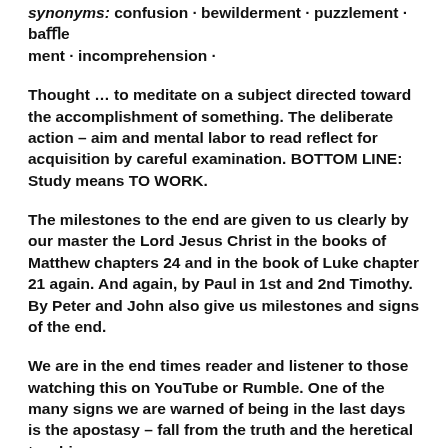synonyms: confusion · bewilderment · puzzlement · baﬄement · incomprehension ·
Thought …  to meditate on a subject directed toward the accomplishment of something. The deliberate action – aim and mental labor to read reflect for acquisition by careful examination.    BOTTOM LINE:  Study means TO WORK.
The milestones to the end are given to us clearly by our master the Lord Jesus Christ in the books of Matthew chapters 24 and in the book of Luke chapter 21 again. And again, by Paul in 1st and 2nd Timothy. By Peter and John also give us milestones and signs of the end.
We are in the end times reader and listener to those watching this on YouTube or Rumble. One of the many signs we are warned of being in the last days is the apostasy – fall from the truth and the heretical teaching